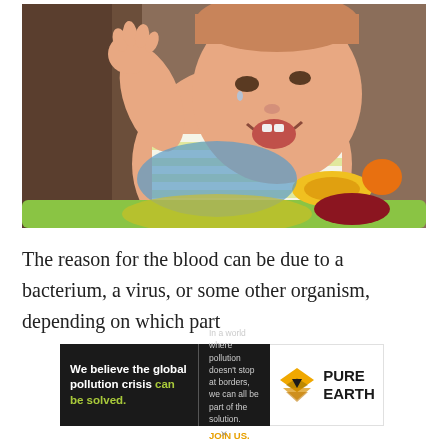[Figure (photo): A crying baby sitting in a colorful activity walker/bouncer, wearing a white and yellow striped sleeveless top, with arm raised, against a blurred indoor background with colorful toy attachments visible.]
The reason for the blood can be due to a bacterium, a virus, or some other organism, depending on which part
[Figure (infographic): Pure Earth advertisement banner. Left dark panel reads: 'We believe the global pollution crisis can be solved.' with 'can be solved.' in green. Right section reads: 'In a world where pollution doesn't stop at borders, we can all be part of the solution. JOIN US.' in orange. Right white panel shows Pure Earth logo (diamond shape with arrow) and text 'PURE EARTH'.]